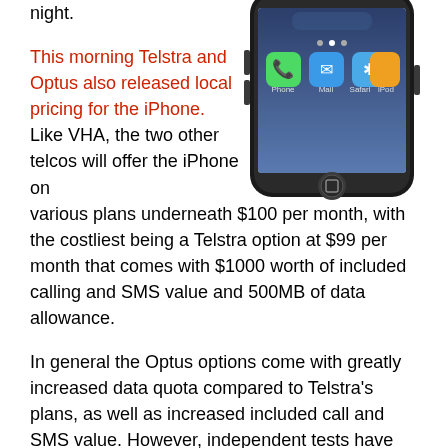[Figure (photo): Photo of an iPhone showing the home screen with phone, mail, safari, and iPod icons visible, set against a white background.]
night.

This morning Telstra and Optus also released local pricing for the iPhone. Like VHA, the two other telcos will offer the iPhone on various plans underneath $100 per month, with the costliest being a Telstra option at $99 per month that comes with $1000 worth of included calling and SMS value and 500MB of data allowance.

In general the Optus options come with greatly increased data quota compared to Telstra’s plans, as well as increased included call and SMS value. However, independent tests have shown Telstra’s Next G network to be superior to that of Optus on a range of criteria, although Optus' network was a